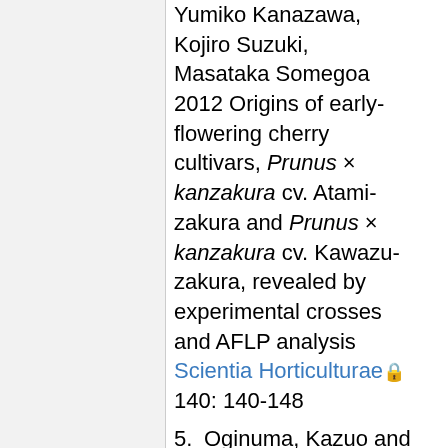Yumiko Kanazawa, Kojiro Suzuki, Masataka Somegoa 2012 Origins of early-flowering cherry cultivars, Prunus × kanzakura cv. Atami-zakura and Prunus × kanzakura cv. Kawazu-zakura, revealed by experimental crosses and AFLP analysis Scientia Horticulturae 140: 140-148
5. Oginuma, Kazuo and Ryuso Tanaka 1976 Karyomorphological...